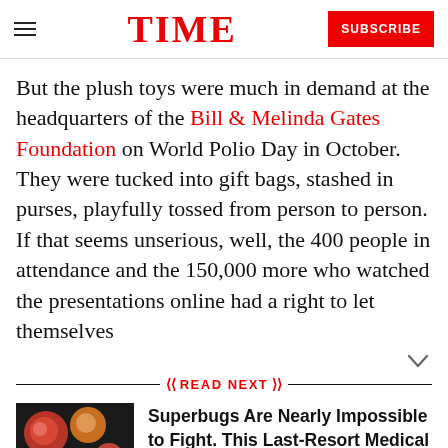TIME
But the plush toys were much in demand at the headquarters of the Bill & Melinda Gates Foundation on World Polio Day in October. They were tucked into gift bags, stashed in purses, playfully tossed from person to person. If that seems unserious, well, the 400 people in attendance and the 150,000 more who watched the presentations online had a right to let themselves
READ NEXT
[Figure (photo): Colorful circular microorganism or bacteria on dark background]
Superbugs Are Nearly Impossible to Fight. This Last-Resort Medical Treatment Offers Hope